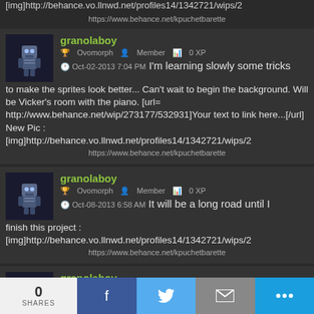[img]http://behance.vo.llnwd.net/profiles14/1342721/wips/2
https://www.behance.net/kpuchetbarette
granolaboy — Ovomorph — Member — 0 XP — Oct-02-2013 7:04 PM — I'm learning slowly some tricks to make the sprites look better... Can't wait to begin the background. Will be Vicker's room with the piano. [url=http://www.behance.net/wip/273177/532931]Your text to link here...[/url] New Pic : [img]http://behance.vo.llnwd.net/profiles14/1342721/wips/2
https://www.behance.net/kpuchetbarette
granolaboy — Ovomorph — Member — 0 XP — Oct-08-2013 6:58 AM — It will be a long road until I finish this project : [img]http://behance.vo.llnwd.net/profiles14/1342721/wips/2
https://www.behance.net/kpuchetbarette
granolaboy — Ovomorph — Member — 0 XP — FIGHT!
0 SHARES